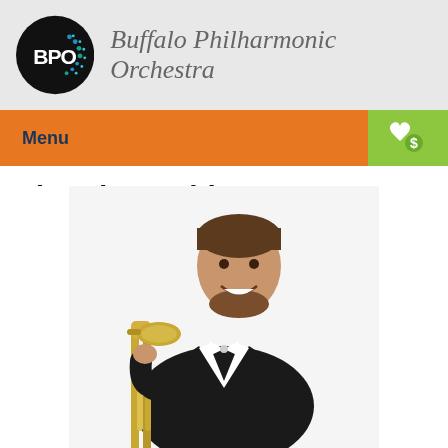[Figure (logo): Buffalo Philharmonic Orchestra logo: black circle with BPO text and blue/teal dot pattern, followed by organization name in italic gray text]
Menu
Timothy Smith
[Figure (photo): Professional photo of Timothy Smith, a man in black tuxedo with white bow tie, holding a trombone, smiling, against white background]